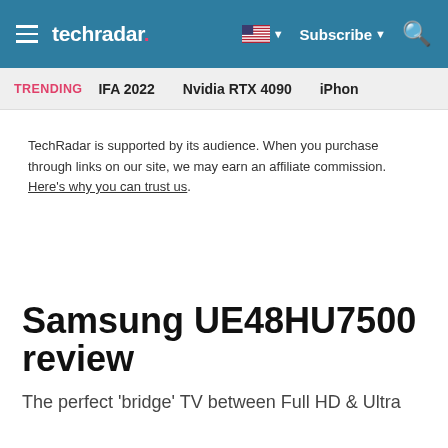techradar | Subscribe | (flag icon) | Search
TRENDING   IFA 2022   Nvidia RTX 4090   iPhone
TechRadar is supported by its audience. When you purchase through links on our site, we may earn an affiliate commission. Here’s why you can trust us.
Samsung UE48HU7500 review
The perfect ‘bridge’ TV between Full HD & Ultra